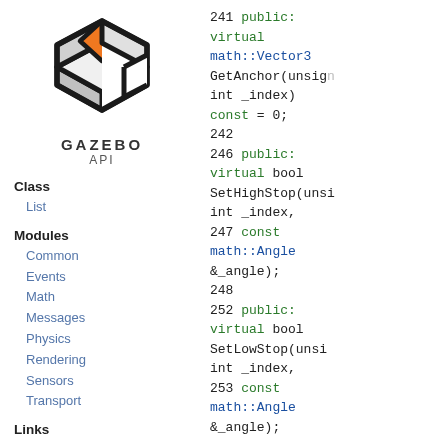[Figure (logo): Gazebo API logo: geometric hexagonal shape with orange diamond top, white and dark panels, bold black outline, with text GAZEBO API below]
Class
List
Modules
Common
Events
Math
Messages
Physics
Rendering
Sensors
Transport
Links
241 public: virtual math::Vector3 GetAnchor(unsigned int _index) const = 0;
242
246 public: virtual bool SetHighStop(unsigned int _index,
247 const math::Angle &_angle);
248
252 public: virtual bool SetLowStop(unsigned int _index,
253 const math::Angle &_angle);